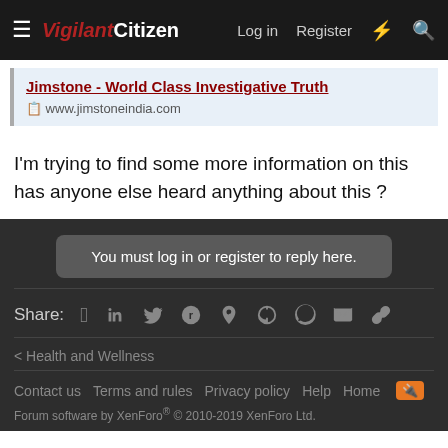Vigilant Citizen — Log in  Register
[Figure (screenshot): Link card showing: Jimstone - World Class Investigative Truth, www.jimstoneindia.com]
I'm trying to find some more information on this has anyone else heard anything about this ?
You must log in or register to reply here.
Share: [Facebook] [Twitter] [Reddit] [Pinterest] [Tumblr] [WhatsApp] [Email] [Link]
< Health and Wellness
Contact us  Terms and rules  Privacy policy  Help  Home
Forum software by XenForo® © 2010-2019 XenForo Ltd.